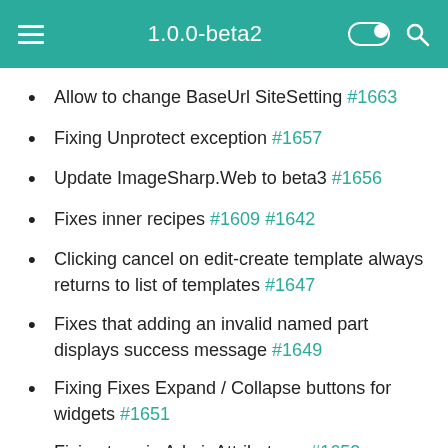1.0.0-beta2
Allow to change BaseUrl SiteSetting #1663
Fixing Unprotect exception #1657
Update ImageSharp.Web to beta3 #1656
Fixes inner recipes #1609 #1642
Clicking cancel on edit-create template always returns to list of templates #1647
Fixes that adding an invalid named part displays success message #1649
Fixing Fixes Expand / Collapse buttons for widgets #1651
Fixing typo in AdminAttribute.cs #1652
Move deferred tasks at the very end of the request and out of its scope #1643